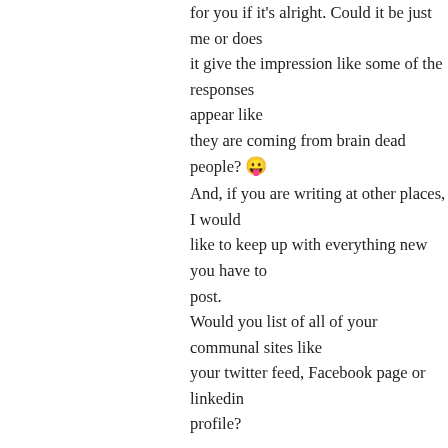for you if it's alright. Could it be just me or does it give the impression like some of the responses appear like they are coming from brain dead people? 😛 And, if you are writing at other places, I would like to keep up with everything new you have to post. Would you list of all of your communal sites like your twitter feed, Facebook page or linkedin profile?
👍 0 👎 0 ℹ Rate This
↪ Reply
Free Slots No Deposit on October 22, 2014 at 9:26 am